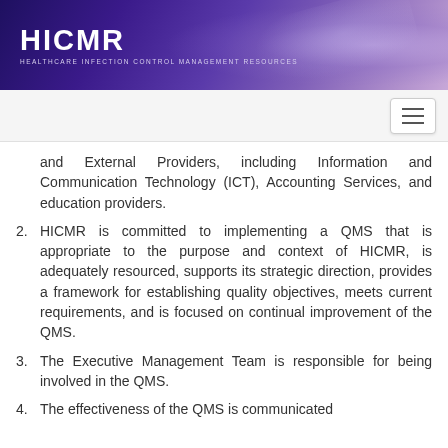HICMR HEALTHCARE INFECTION CONTROL MANAGEMENT RESOURCES
and External Providers, including Information and Communication Technology (ICT), Accounting Services, and education providers.
2. HICMR is committed to implementing a QMS that is appropriate to the purpose and context of HICMR, is adequately resourced, supports its strategic direction, provides a framework for establishing quality objectives, meets current requirements, and is focused on continual improvement of the QMS.
3. The Executive Management Team is responsible for being involved in the QMS.
4. The effectiveness of the QMS is communicated